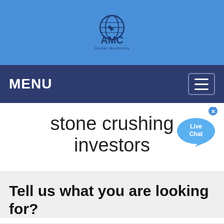[Figure (logo): AMC logo with globe icon and company name on blue header background]
MENU
stone crushing investors
[Figure (other): Live Chat widget bubble in blue on right side]
Tell us what you are looking for?
Please fill in and submit the following form, our service team will contact you as soon as possible and provide a complete solution.